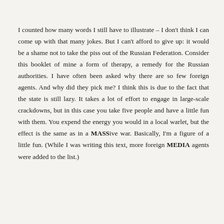I counted how many words I still have to illustrate – I don't think I can come up with that many jokes. But I can't afford to give up: it would be a shame not to take the piss out of the Russian Federation. Consider this booklet of mine a form of therapy, a remedy for the Russian authorities. I have often been asked why there are so few foreign agents. And why did they pick me? I think this is due to the fact that the state is still lazy. It takes a lot of effort to engage in large-scale crackdowns, but in this case you take five people and have a little fun with them. You expend the energy you would in a local warlet, but the effect is the same as in a MASSive war. Basically, I'm a figure of a little fun. (While I was writing this text, more foreign MEDIA agents were added to the list.)